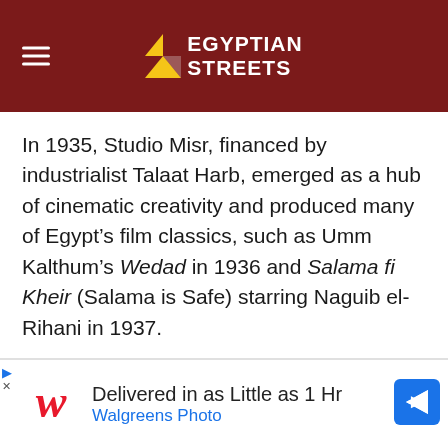Egyptian Streets
In 1935, Studio Misr, financed by industrialist Talaat Harb, emerged as a hub of cinematic creativity and produced many of Egypt's film classics, such as Umm Kalthum's Wedad in 1936 and Salama fi Kheir (Salama is Safe) starring Naguib el-Rihani in 1937.
[Figure (other): Advertisement banner for Walgreens Photo: 'Delivered in as Little as 1 Hr, Walgreens Photo' with Walgreens logo and navigation arrow icon]